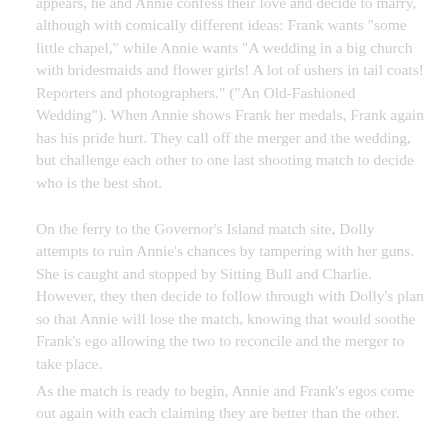appears, he and Annie confess their love and decide to marry, although with comically different ideas: Frank wants "some little chapel," while Annie wants "A wedding in a big church with bridesmaids and flower girls! A lot of ushers in tail coats! Reporters and photographers." ("An Old-Fashioned Wedding"). When Annie shows Frank her medals, Frank again has his pride hurt. They call off the merger and the wedding, but challenge each other to one last shooting match to decide who is the best shot.
On the ferry to the Governor's Island match site, Dolly attempts to ruin Annie's chances by tampering with her guns. She is caught and stopped by Sitting Bull and Charlie. However, they then decide to follow through with Dolly's plan so that Annie will lose the match, knowing that would soothe Frank's ego allowing the two to reconcile and the merger to take place.
As the match is ready to begin, Annie and Frank's egos come out again with each claiming they are better than the other.